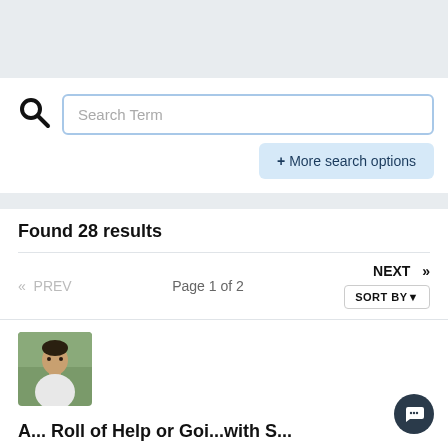[Figure (screenshot): Top gray header bar area]
Search Term
+ More search options
Found 28 results
« PREV   Page 1 of 2   NEXT »
SORT BY▼
[Figure (photo): Headshot photo of a man in a white shirt]
A...Roll of Help or Goi...with S...